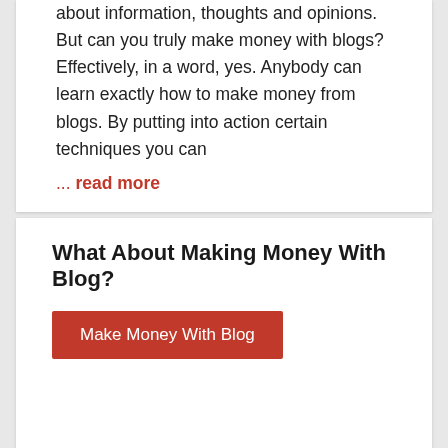about information, thoughts and opinions. But can you truly make money with blogs? Effectively, in a word, yes. Anybody can learn exactly how to make money from blogs. By putting into action certain techniques you can
... read more
What About Making Money With Blog?
Make Money With Blog